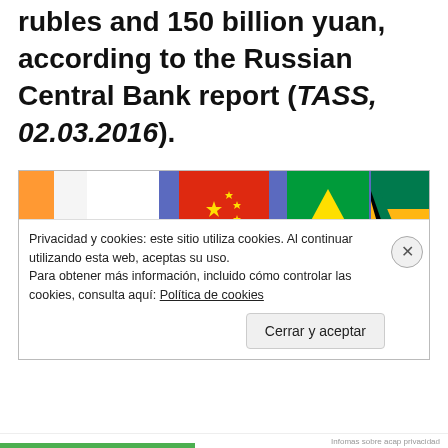rubles and 150 billion yuan, according to the Russian Central Bank report (TASS, 02.03.2016).
[Figure (photo): Photograph of BRICS country flags (India, Russia, China, Brazil, South Africa) arranged together against a blue background.]
Privacidad y cookies: este sitio utiliza cookies. Al continuar utilizando esta web, aceptas su uso.
Para obtener más información, incluido cómo controlar las cookies, consulta aquí: Política de cookies
Cerrar y aceptar